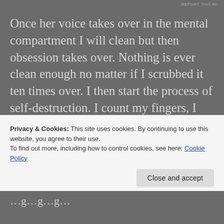REPORT THIS AD
Once her voice takes over in the mental compartment I will clean but then obsession takes over. Nothing is ever clean enough no matter if I scrubbed it ten times over. I then start the process of self-destruction. I count my fingers, I need six things to tap, and I will not eat food. Once this process starts; I cannot take enough showers to get rid of my dirty body. I will pick at my skin in stress and find flaws everywhere, nothing is clean enough. These are the lowest of low points in
Privacy & Cookies: This site uses cookies. By continuing to use this website, you agree to their use.
To find out more, including how to control cookies, see here: Cookie Policy